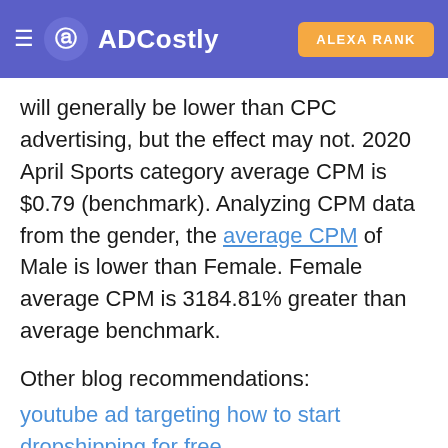ADCostly | ALEXA RANK
will generally be lower than CPC advertising, but the effect may not. 2020 April Sports category average CPM is $0.79 (benchmark). Analyzing CPM data from the gender, the average CPM of Male is lower than Female. Female average CPM is 3184.81% greater than average benchmark.
Other blog recommendations:
youtube ad targeting how to start dropshipping for free.
The average CPM cost trend about age is